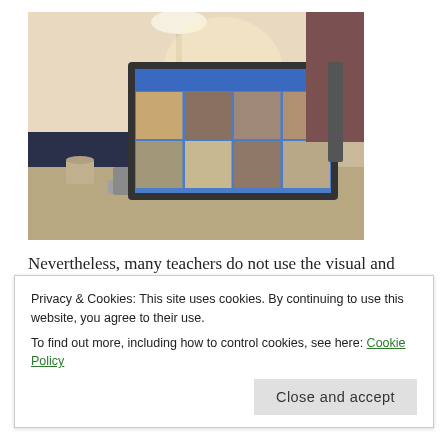[Figure (photo): Person typing on a laptop at a desk; the laptop screen shows a photo gallery website. A desk lamp and cup are visible in the background.]
Nevertheless, many teachers do not use the visual and technical equipment. Some are simply afraid to use them or do not know how they work. Therefore, teachers decide
Privacy & Cookies: This site uses cookies. By continuing to use this website, you agree to their use.
To find out more, including how to control cookies, see here: Cookie Policy